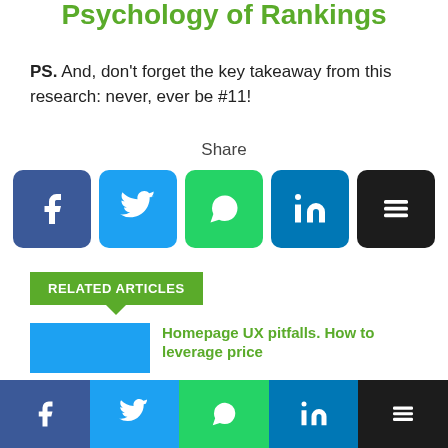Psychology of Rankings
PS. And, don't forget the key takeaway from this research: never, ever be #11!
[Figure (infographic): Share buttons row: Facebook (dark blue), Twitter (light blue), WhatsApp (green), LinkedIn (blue), Buffer (black)]
RELATED ARTICLES
Homepage UX pitfalls. How to leverage price...
[Figure (infographic): Bottom sticky social share bar: Facebook, Twitter, WhatsApp, LinkedIn, Buffer]